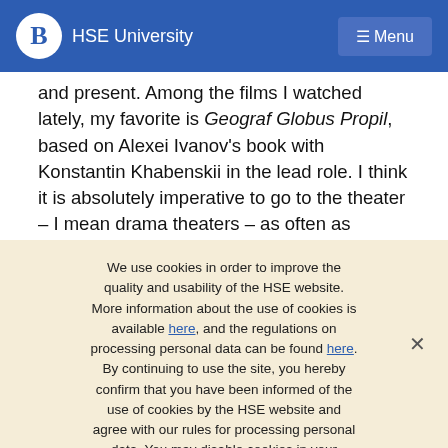HSE University  Menu
and present. Among the films I watched lately, my favorite is Geograf Globus Propil, based on Alexei Ivanov's book with Konstantin Khabenskii in the lead role. I think it is absolutely imperative to go to the theater – I mean drama theaters – as often as possible, even if your Russian isn't up to par yet. It can do wonders not only for your languages skills, but also for your soul.
Anna Chernyakhovskaya for HSE news service
We use cookies in order to improve the quality and usability of the HSE website. More information about the use of cookies is available here, and the regulations on processing personal data can be found here. By continuing to use the site, you hereby confirm that you have been informed of the use of cookies by the HSE website and agree with our rules for processing personal data. You may disable cookies in your browser settings.